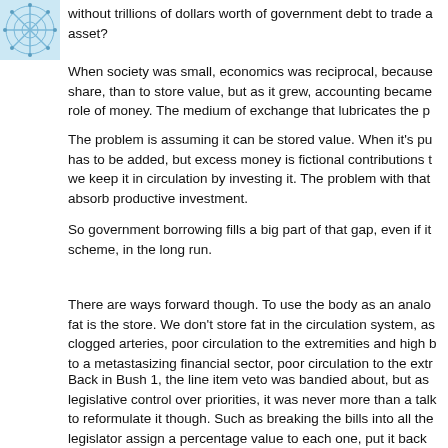[Figure (logo): Blue snowflake/web pattern logo in top left corner]
without trillions of dollars worth of government debt to trade as an asset?
When society was small, economics was reciprocal, because it was easier to share, than to store value, but as it grew, accounting became the central role of money. The medium of exchange that lubricates the p...
The problem is assuming it can be stored value. When it's pu... has to be added, but excess money is fictional contributions t... we keep it in circulation by investing it. The problem with that... absorb productive investment.
So government borrowing fills a big part of that gap, even if it... scheme, in the long run.
There are ways forward though. To use the body as an analo... fat is the store. We don't store fat in the circulation system, as... clogged arteries, poor circulation to the extremities and high b... to a metastasizing financial sector, poor circulation to the extr...
Back in Bush 1, the line item veto was bandied about, but as... legislative control over priorities, it was never more than a talk... to reformulate it though. Such as breaking the bills into all the... legislator assign a percentage value to each one, put it back...